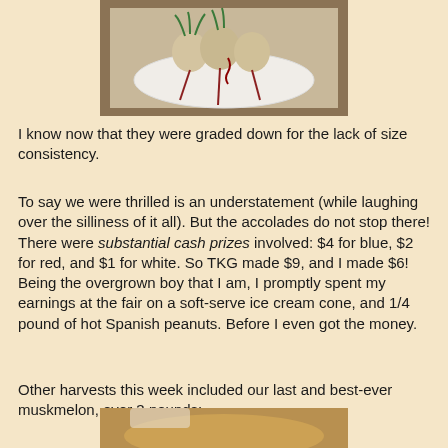[Figure (photo): Photo of radishes or beets on a white paper plate with red ribbons/tassels]
I know now that they were graded down for the lack of size consistency.
To say we were thrilled is an understatement (while laughing over the silliness of it all). But the accolades do not stop there! There were substantial cash prizes involved: $4 for blue, $2 for red, and $1 for white. So TKG made $9, and I made $6! Being the overgrown boy that I am, I promptly spent my earnings at the fair on a soft-serve ice cream cone, and 1/4 pound of hot Spanish peanuts. Before I even got the money.
Other harvests this week included our last and best-ever muskmelon, over 3 pounds:
[Figure (photo): Partial photo of a muskmelon/cantaloupe at the bottom of the page]